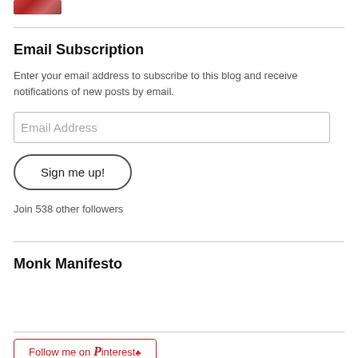[Figure (photo): Small cropped photo thumbnail at top left]
Email Subscription
Enter your email address to subscribe to this blog and receive notifications of new posts by email.
Email Address
Sign me up!
Join 538 other followers
Monk Manifesto
[Figure (other): Follow me on Pinterest button/badge]